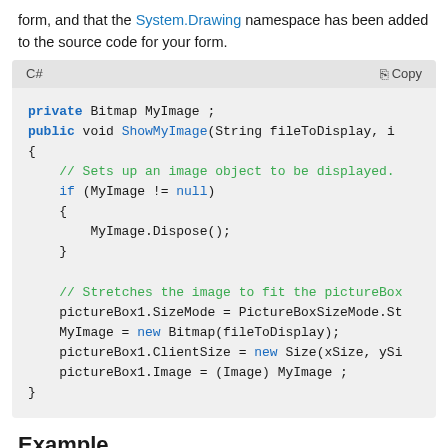form, and that the System.Drawing namespace has been added to the source code for your form.
[Figure (screenshot): C# code block showing private Bitmap MyImage declaration, ShowMyImage method with null check, Dispose call, and pictureBox1 setup code including SizeMode, ClientSize, and Image assignment.]
Example